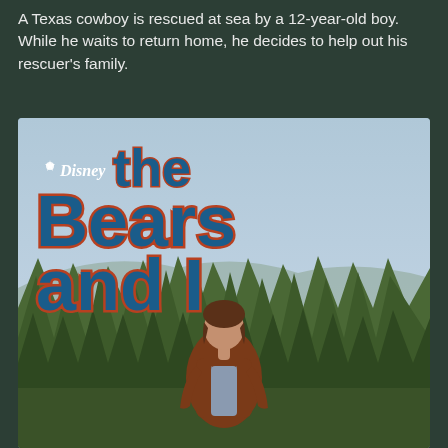A Texas cowboy is rescued at sea by a 12-year-old boy. While he waits to return home, he decides to help out his rescuer's family.
[Figure (photo): Movie poster for 'The Bears and I' (Disney). Shows a man in a brown suede jacket standing outdoors with pine trees and sky in background. Large stylized text reads 'the Bears and I' with Disney logo.]